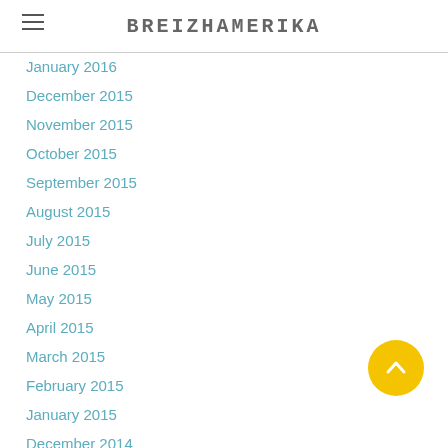BREIZHAMERIKA
January 2016
December 2015
November 2015
October 2015
September 2015
August 2015
July 2015
June 2015
May 2015
April 2015
March 2015
February 2015
January 2015
December 2014
November 2014
October 2014
September 2014
August 2014